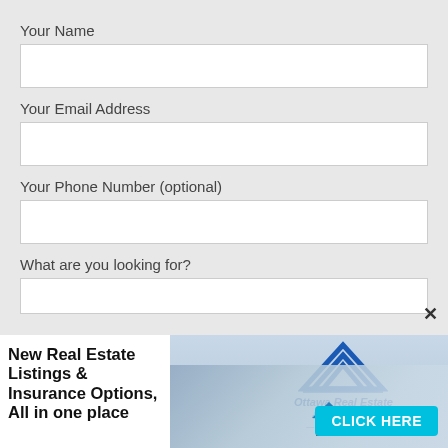Your Name
Your Email Address
Your Phone Number (optional)
What are you looking for?
[Figure (infographic): Advertisement banner: Ottawa Real Estate & Insurance, Since 1910. Text reads 'New Real Estate Listings & Insurance Options, All in one place'. Blue logo with house/chevron shape. CLICK HERE button in cyan. Background shows blurred real estate imagery with a hand holding a miniature house model.]